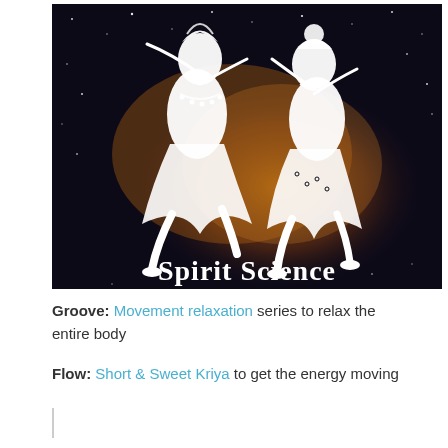[Figure (illustration): Spirit Science logo image showing two stylized white silhouette figures dancing against a dark cosmic/galaxy background with orange nebula colors. Text 'Spirit Science' appears at the bottom of the image in white serif font.]
Groove: Movement relaxation series to relax the entire body
Flow: Short & Sweet Kriya to get the energy moving